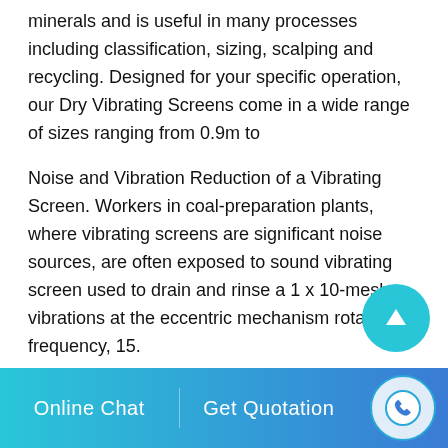minerals and is useful in many processes including classification, sizing, scalping and recycling. Designed for your specific operation, our Dry Vibrating Screens come in a wide range of sizes ranging from 0.9m to
Noise and Vibration Reduction of a Vibrating Screen. Workers in coal-preparation plants, where vibrating screens are significant noise sources, are often exposed to sound vibrating screen used to drain and rinse a 1 x 10-mesh . vibrations at the eccentric mechanism rotation frequency, 15.
China Coal Construction Association, Coal Industry Construction Engineering Quality Supervision Station announced the 2015-2016 Coal Industry High-quality Project and the Sun Cup project
Online Chat    Get Quotation